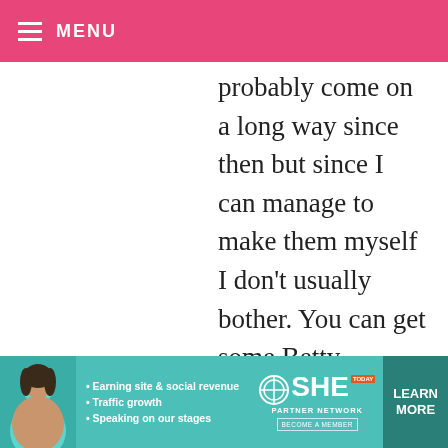MENU
probably come on a long way since then but since I can manage to make them myself I don't usually bother. You can get some Betty Crocker stuff here in Greece but I haven't tried them. Obviously there isn't the selection you have there. Given a good taste and a great selection I would probably use them sometimes. I am curious? How do the mixes you get over there compare with regard to additives, preservatives and artificial colors? I
[Figure (infographic): SHE Partner Network advertisement banner with woman photo, bullet points about earning site & social revenue, traffic growth, speaking on stages, SHE logo, and Learn More button]